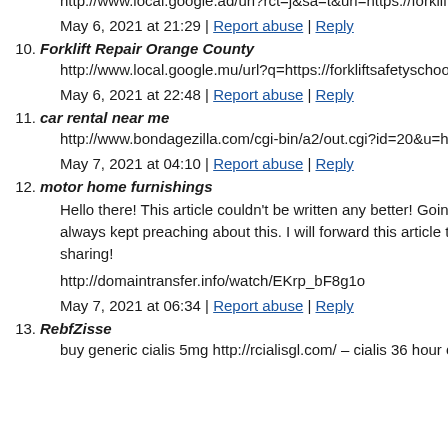http://www.local.google.ad/url?rct=j&sa=t&url=https://forklift…
May 6, 2021 at 21:29 | Report abuse | Reply
10. Forklift Repair Orange County
http://www.local.google.mu/url?q=https://forkliftsafetyschool.…
May 6, 2021 at 22:48 | Report abuse | Reply
11. car rental near me
http://www.bondagezilla.com/cgi-bin/a2/out.cgi?id=20&u=http…
May 7, 2021 at 04:10 | Report abuse | Reply
12. motor home furnishings
Hello there! This article couldn't be written any better! Going always kept preaching about this. I will forward this article to h sharing!
http://domaintransfer.info/watch/EKrp_bF8g1o
May 7, 2021 at 06:34 | Report abuse | Reply
13. RebfZisse
buy generic cialis 5mg http://rcialisgl.com/ – cialis 36 hour cia…